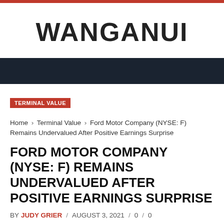WANGANUI
TERMINAL VALUE
Home › Terminal Value › Ford Motor Company (NYSE: F) Remains Undervalued After Positive Earnings Surprise
FORD MOTOR COMPANY (NYSE: F) REMAINS UNDERVALUED AFTER POSITIVE EARNINGS SURPRISE
BY JUDY GRIER / AUGUST 3, 2021 / 0 / 0